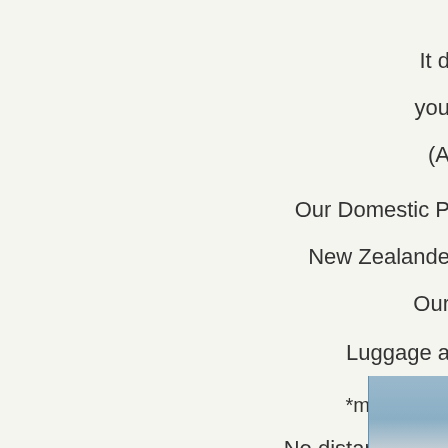It d
you
(A
Our Domestic P
New Zealande
Our
Luggage a
*may also h
No distance restr
authori
[Figure (screenshot): Email us chat button at the bottom of the page, dark grey rounded rectangle with chat icon and 'Email us' text]
[Figure (photo): Partial photo snippet in bottom right corner, appears to show sky or water background in blue-grey tones]